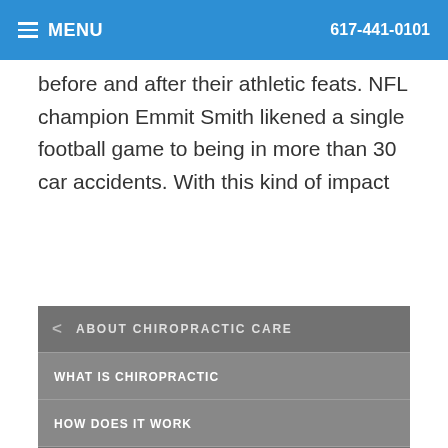MENU  617-441-0101
before and after their athletic feats. NFL champion Emmit Smith likened a single football game to being in more than 30 car accidents. With this kind of impact
Read more
< ABOUT CHIROPRACTIC CARE
WHAT IS CHIROPRACTIC
HOW DOES IT WORK
WHO IS CHIROPRACTIC FOR